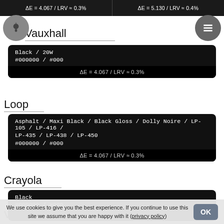ΔE = 4.067 / LRV ≈ 0.3%   |   ΔE = 5.130 / LRV ≈ 0.4%
Vauxhall
Black / 20W
#000000 / #000
ΔE = 4.067 / LRV ≈ 0.3%
Loop
Asphalt / Maxi Black / Black Gloss / Dolly Noire / LP-105 / LP-416 / LP-435 / LP-438 / LP-450
#000000 / #000
ΔE = 4.067 / LRV ≈ 0.3%
Crayola
Black
#000000 / #000
ΔE = 4.067 / LRV ≈ 0.3%
Vallejo Game Color
We use cookies to give you the best experience. If you continue to use this site we assume that you are happy with it (privacy policy)